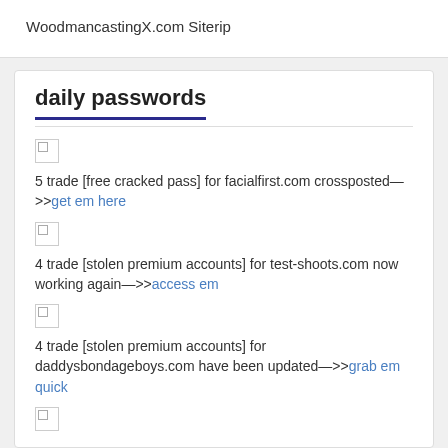WoodmancastingX.com Siterip
daily passwords
[Figure (other): Broken image icon]
5 trade [free cracked pass] for facialfirst.com crossposted—>>get em here
[Figure (other): Broken image icon]
4 trade [stolen premium accounts] for test-shoots.com now working again—>>access em
[Figure (other): Broken image icon]
4 trade [stolen premium accounts] for daddysbondageboys.com have been updated—>>grab em quick
[Figure (other): Broken image icon]